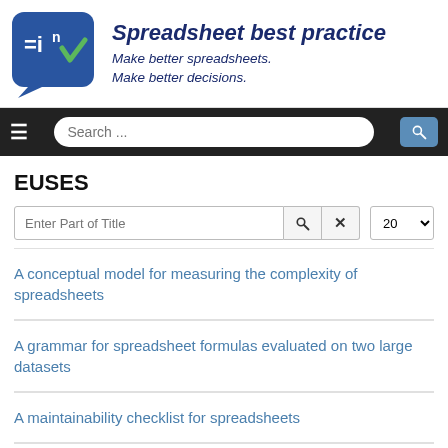[Figure (logo): Spreadsheet best practice logo: blue speech bubble icon with formula notation, beside italic bold navy text 'Spreadsheet best practice' and subtitle 'Make better spreadsheets. Make better decisions.']
Search ...
EUSES
Enter Part of Title
A conceptual model for measuring the complexity of spreadsheets
A grammar for spreadsheet formulas evaluated on two large datasets
A maintainability checklist for spreadsheets
A quality model for spreadsheets